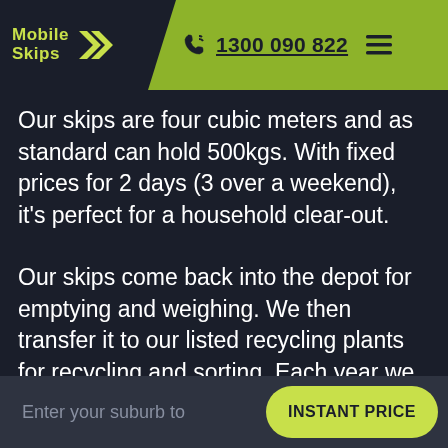Mobile Skips | 1300 090 822
Our skips are four cubic meters and as standard can hold 500kgs. With fixed prices for 2 days (3 over a weekend), it's perfect for a household clear-out.
Our skips come back into the depot for emptying and weighing. We then transfer it to our listed recycling plants for recycling and sorting. Each year we are seeing
Enter your suburb to   INSTANT PRICE